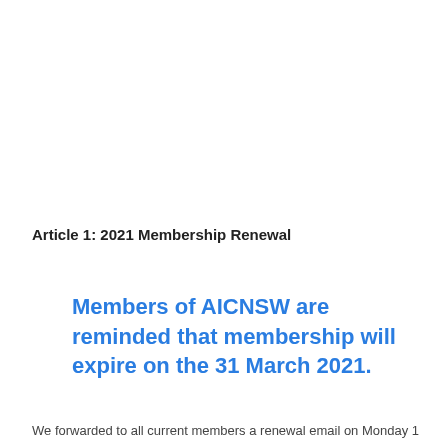Article 1: 2021 Membership Renewal
Members of AICNSW are reminded that membership will expire on the 31 March 2021.
We forwarded to all current members a renewal email on Monday 1